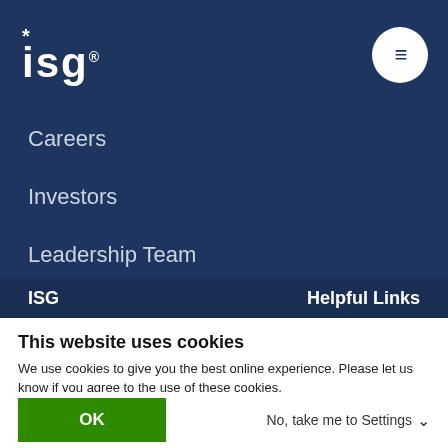ISG (logo) with hamburger menu button
Careers
Investors
Leadership Team
Newsroom
Contact Us
ISG    Helpful Links
This website uses cookies
We use cookies to give you the best online experience. Please let us know if you agree to the use of these cookies.
OK    No, take me to Settings